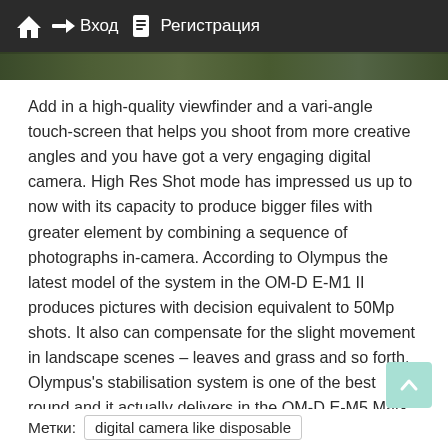Вход   Регистрация
[Figure (photo): Partial view of a green foliage/nature photo strip]
Add in a high-quality viewfinder and a vari-angle touch-screen that helps you shoot from more creative angles and you have got a very engaging digital camera. High Res Shot mode has impressed us up to now with its capacity to produce bigger files with greater element by combining a sequence of photographs in-camera. According to Olympus the latest model of the system in the OM-D E-M1 II produces pictures with decision equivalent to 50Mp shots. It also can compensate for the slight movement in landscape scenes – leaves and grass and so forth. Olympus's stabilisation system is one of the best round and it actually delivers in the OM-D E-M5 Mark III. I shot a video whereas walking up and downstairs and the results are great.
Метки:  digital camera like disposable